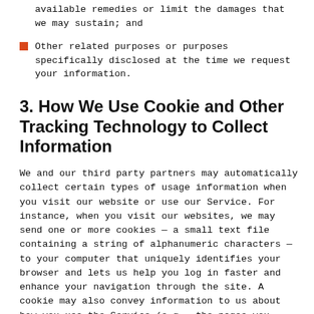available remedies or limit the damages that we may sustain; and
Other related purposes or purposes specifically disclosed at the time we request your information.
3. How We Use Cookie and Other Tracking Technology to Collect Information
We and our third party partners may automatically collect certain types of usage information when you visit our website or use our Service. For instance, when you visit our websites, we may send one or more cookies — a small text file containing a string of alphanumeric characters — to your computer that uniquely identifies your browser and lets us help you log in faster and enhance your navigation through the site. A cookie may also convey information to us about how you use the Service (e.g., the pages you view, the links you click, how frequently you access the Service, and other actions you take on the Service), and allow us to track your usage of the Service over time. We may collect log file information about your browser or mobile device each time you